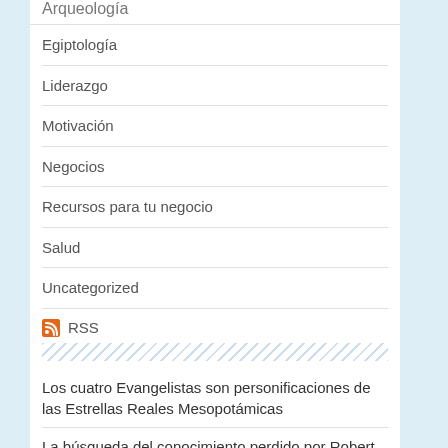Arqueología
Egiptología
Liderazgo
Motivación
Negocios
Recursos para tu negocio
Salud
Uncategorized
RSS
Los cuatro Evangelistas son personificaciones de las Estrellas Reales Mesopotámicas
La búsqueda del conocimiento perdido por Robert Bauval
Weightless Possibilities